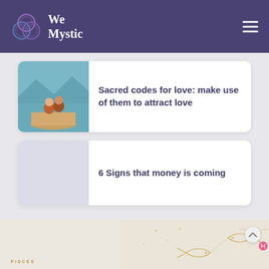We Mystic
[Figure (screenshot): Article card with photo of couple on a boat and title 'Sacred codes for love: make use of them to attract love']
Sacred codes for love: make use of them to attract love
[Figure (screenshot): Article card with placeholder image and title '6 Signs that money is coming']
6 Signs that money is coming
[Figure (illustration): Bottom banner with Pisces zodiac illustration — golden line art of fish and constellation symbols on a light beige background, with 'PISCES' label]